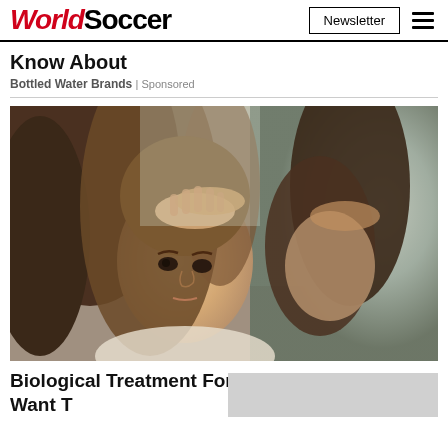WorldSoccer | Newsletter
Know About
Bottled Water Brands | Sponsored
[Figure (photo): Woman looking at her scalp in a mirror, examining her hair with a concerned expression]
Biological Treatment For Psoriasis (Some May Want to Know About